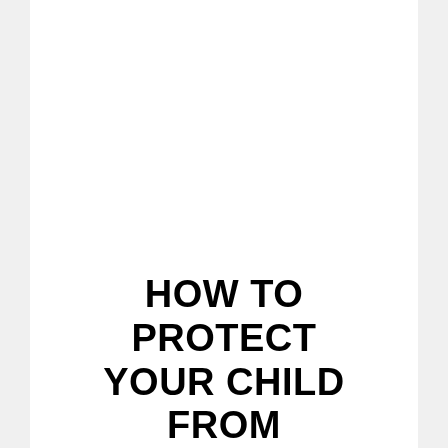HOW TO PROTECT YOUR CHILD FROM